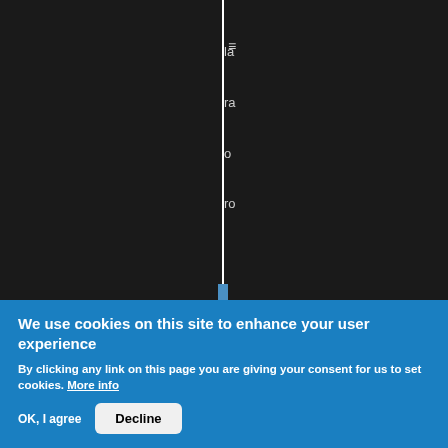[Figure (screenshot): Dark background with a vertical white dividing line and partial text visible on the right side including menu icon and partial menu items]
We use cookies on this site to enhance your user experience
By clicking any link on this page you are giving your consent for us to set cookies. More info
OK, I agree   Decline